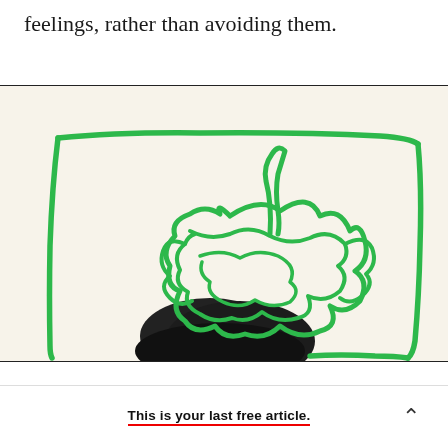feelings, rather than avoiding them.
[Figure (illustration): Illustration on a cream/off-white background showing a person's dark hair partially visible, overlaid with chaotic green hand-drawn scribbles and a loose green rectangular frame sketched around the figure, suggesting mental clutter or anxiety.]
This is your last free article.